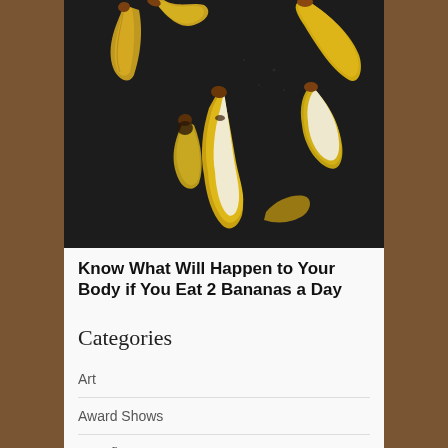[Figure (photo): Overhead photo of banana peels scattered on a dark background. Multiple yellow banana peels with brown tips are arranged artistically on a near-black surface.]
Know What Will Happen to Your Body if You Eat 2 Bananas a Day
Categories
Art
Award Shows
Benefits
Black History Month